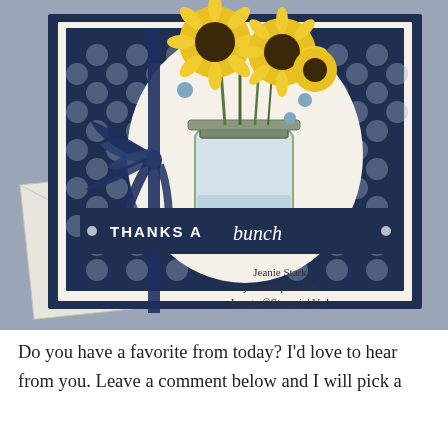[Figure (photo): A handmade greeting card with navy blue and cream color scheme, featuring a mason jar with sunflowers stamp illustration on a polka dot navy background. A navy ribbon bow is on the left side. A navy banner across the middle reads 'THANKS A bunch' in white text. Watermark reads 'Jeanie Stark juststampin.com Images©Stampin' Up!']
Do you have a favorite from today? I'd love to hear from you. Leave a comment below and I will pick a